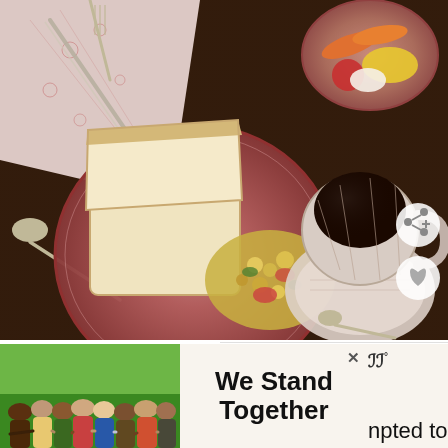[Figure (photo): Overhead photo of a meal on a dark wooden table: a pink floral plate with a sandwich and pasta salad, a decorative teacup with dark tea on a saucer, a small bowl of vegetables (carrots, yellow pepper, tomato), and a pink floral napkin with silverware. Two circular UI buttons (heart/like and share) visible in bottom-right corner.]
WHAT'S NEXT → Of Vegetables And Oats
I was peer pressured to eat some homemade
Pe... also in ch... npted to
[Figure (photo): Advertisement banner: photo of diverse group of people with arms around each other seen from behind, with text 'We Stand Together' and an X close button.]